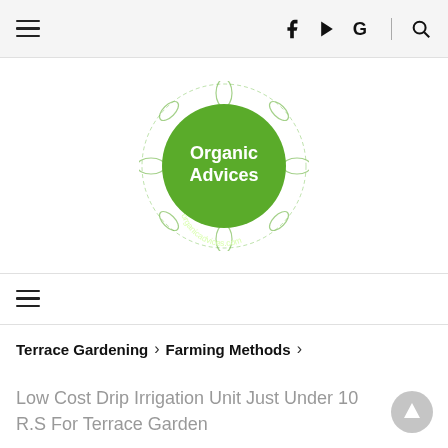≡  Facebook  Play  Google  | Search
[Figure (logo): Organic Advices circular green logo with vegetable illustrations and text 'Organic Advices organicadvices.com']
≡ (hamburger menu)
Terrace Gardening > Farming Methods >
Low Cost Drip Irrigation Unit Just Under 10 R.S For Terrace Garden